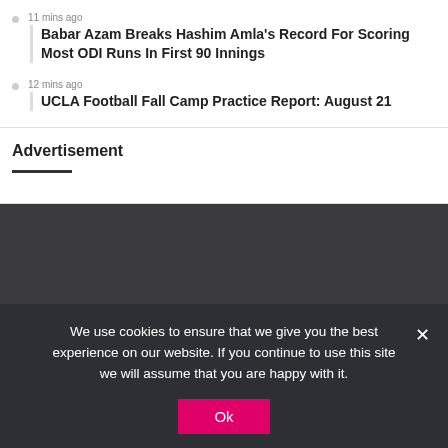11 mins ago
Babar Azam Breaks Hashim Amla's Record For Scoring Most ODI Runs In First 90 Innings
12 mins ago
UCLA Football Fall Camp Practice Report: August 21
Advertisement
We use cookies to ensure that we give you the best experience on our website. If you continue to use this site we will assume that you are happy with it.
Ok